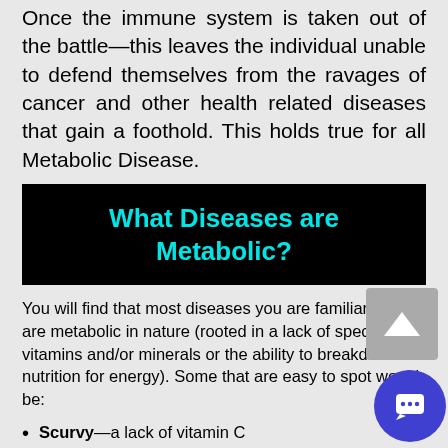Once the immune system is taken out of the battle—this leaves the individual unable to defend themselves from the ravages of cancer and other health related diseases that gain a foothold. This holds true for all Metabolic Disease.
What Diseases are Metabolic?
You will find that most diseases you are familiar with are metabolic in nature (rooted in a lack of specific vitamins and/or minerals or the ability to breakdown nutrition for energy). Some that are easy to spot would be:
Scurvy—a lack of vitamin C
Pernicious Anemia—a lack of vitamin B12 and folic acid